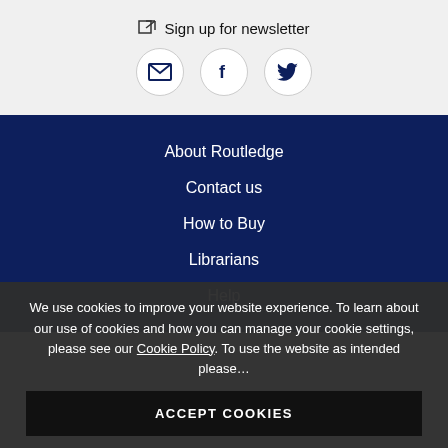Sign up for newsletter
[Figure (illustration): Social media icon buttons: email/envelope, Facebook, Twitter]
About Routledge
Contact us
How to Buy
Librarians
Help
We use cookies to improve your website experience. To learn about our use of cookies and how you can manage your cookie settings, please see our Cookie Policy. To use the website as intended please…
ACCEPT COOKIES